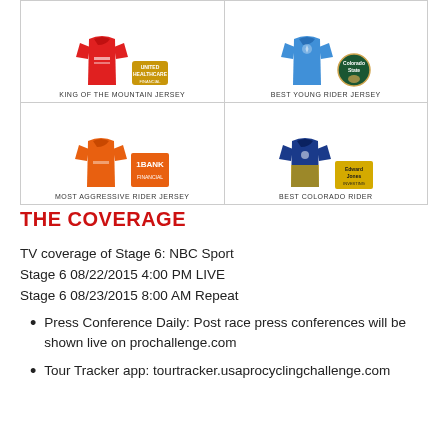[Figure (illustration): Grid of cycling jersey images with sponsorship logos: King of the Mountain Jersey (red jersey with gold sponsor badge), Best Young Rider Jersey (blue jersey with Colorado State logo), Most Aggressive Rider Jersey (orange jersey with 1BANK logo), Best Colorado Rider (blue jersey with Edward Jones logo)]
THE COVERAGE
TV coverage of Stage 6: NBC Sport
Stage 6 08/22/2015 4:00 PM LIVE
Stage 6 08/23/2015 8:00 AM Repeat
Press Conference Daily: Post race press conferences will be shown live on prochallenge.com
Tour Tracker app: tourtracker.usaprocyclingchallenge.com